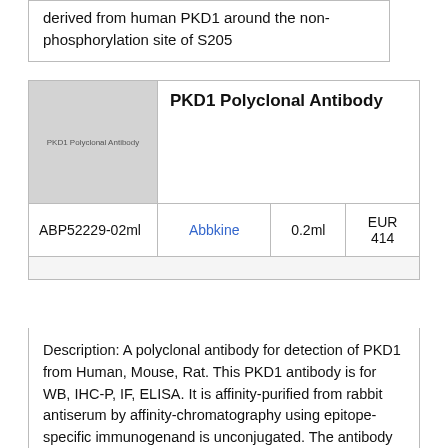derived from human PKD1 around the non-phosphorylation site of S205
| Image | PKD1 Polyclonal Antibody |  |  |  |
| --- | --- | --- | --- | --- |
| [image placeholder] | PKD1 Polyclonal Antibody |  |  |  |
| ABP52229-02ml | Abbkine | 0.2ml | EUR 414 |  |
Description: A polyclonal antibody for detection of PKD1 from Human, Mouse, Rat. This PKD1 antibody is for WB, IHC-P, IF, ELISA. It is affinity-purified from rabbit antiserum by affinity-chromatography using epitope-specific immunogenand is unconjugated. The antibody is